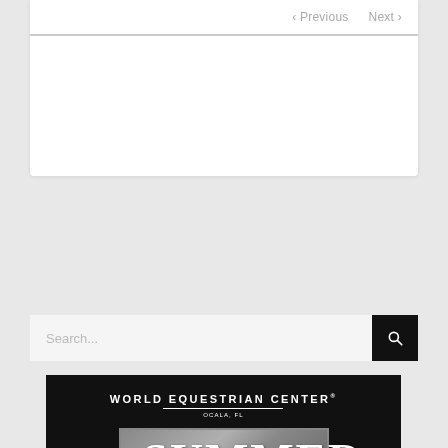Previous  Next
Search...
[Figure (logo): World Equestrian Center Summer Series 2022 promotional banner. Black background with white WORLD EQUESTRIAN CENTER OCALA, FL text at top, large SUMMER text in silver/grey box, and SERIES 2022 below in grey tracking letters.]